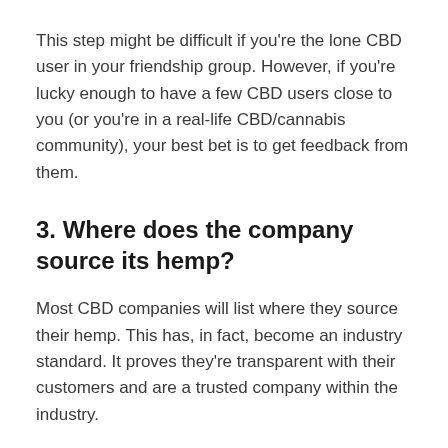This step might be difficult if you're the lone CBD user in your friendship group. However, if you're lucky enough to have a few CBD users close to you (or you're in a real-life CBD/cannabis community), your best bet is to get feedback from them.
3. Where does the company source its hemp?
Most CBD companies will list where they source their hemp. This has, in fact, become an industry standard. It proves they're transparent with their customers and are a trusted company within the industry.